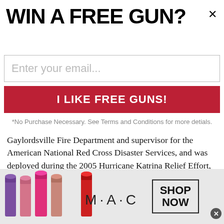WIN A FREE GUN?
Enter your email...
I LIKE FREE GUNS!
*No Purchase Necessary. See Terms and Conditions for more detials.
Gaylordsville Fire Department and supervisor for the American National Red Cross Disaster Services, and was deployed during the 2005 Hurricane Katrina Relief Effort, the 2007 San Diego Wildfires and the 2008 Hurricane Ike Relief Effort in Galveston, Texas.
Herb provides entertaining and thought provoking programs, looking at issues and concerns while expanding his students' insight into firearm safety. Many men, women and youth have
[Figure (illustration): MAC cosmetics advertisement banner showing lipsticks on left, MAC logo in center, and SHOP NOW box on right]